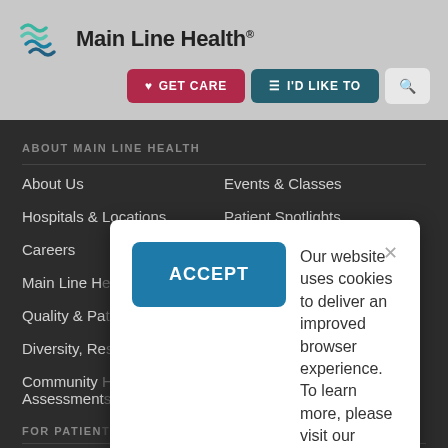[Figure (logo): Main Line Health logo with stylized wave icon in green/teal and blue, followed by text 'Main Line Health' with registered trademark symbol]
[Figure (screenshot): Navigation buttons: red 'GET CARE' button with heart icon, teal 'I'D LIKE TO' button with menu icon, and gray search button with magnifying glass icon]
ABOUT MAIN LINE HEALTH
About Us
Events & Classes
Hospitals & Locations
Patient Spotlights
Careers
Well Ahead Blog
Main Line H[ealth Foundation - partially hidden]
[ations - partially hidden]
Quality & Pa[tient Safety - partially hidden]
Diversity, Re[sources - partially hidden]
Community [Health Needs] Assessment[s - partially hidden]
FOR PATIEN[TS]
Find a Doctor
Patient Billing
[Figure (screenshot): Cookie consent popup with blue ACCEPT button on left, close X button top right, text reading: 'Our website uses cookies to deliver an improved browser experience. To learn more, please visit our Privacy Policy.']